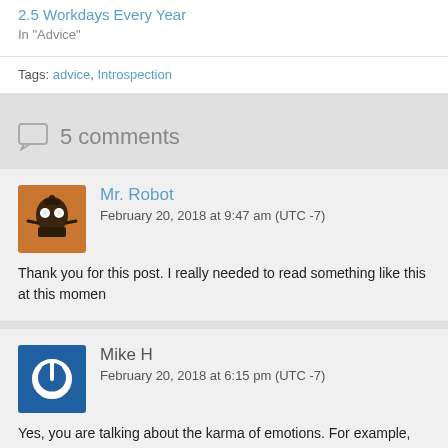2.5 Workdays Every Year
In "Advice"
Tags: advice, Introspection
5 comments
Mr. Robot
February 20, 2018 at 9:47 am (UTC -7)
Thank you for this post. I really needed to read something like this at this momen
Mike H
February 20, 2018 at 6:15 pm (UTC -7)
Yes, you are talking about the karma of emotions. For example, when you get an in the brain. With more repeated emotions that pathway becomes deeper, more c Then all of a sudden, someone cuts you off in traffic and you jump right into seein all came from your previous ‘practice’.